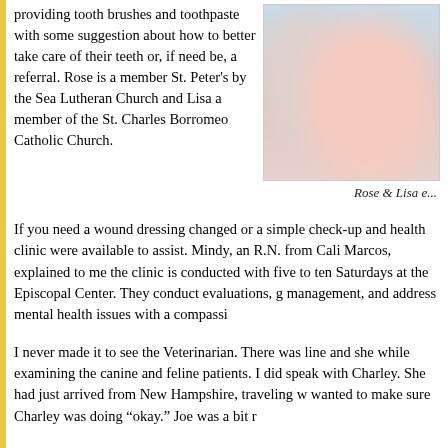providing tooth brushes and toothpaste with some suggestion about how to better take care of their teeth or, if need be, a referral. Rose is a member St. Peter's by the Sea Lutheran Church and Lisa a member of the St. Charles Borromeo Catholic Church.
[Figure (photo): Photo of Rose and Lisa, partially cropped]
Rose & Lisa e...
If you need a wound dressing changed or a simple check-up and health clinic were available to assist. Mindy, an R.N. from Cali Marcos, explained to me the clinic is conducted with five to ten Saturdays at the Episcopal Center. They conduct evaluations, g management, and address mental health issues with a compassi
I never made it to see the Veterinarian. There was line and she while examining the canine and feline patients. I did speak with Charley. She had just arrived from New Hampshire, traveling w wanted to make sure Charley was doing "okay." Joe was a bit r